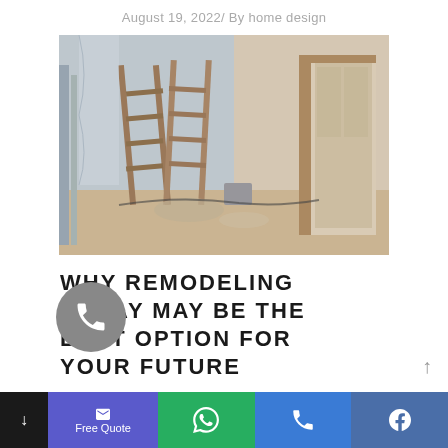August 19, 2022/ By home design
[Figure (photo): Interior of a room under renovation/remodeling with ladders leaning against walls, construction materials, dust, and an open door frame]
WHY REMODELING TODAY MAY BE THE BEST OPTION FOR YOUR FUTURE
August 12, 2022/ By home design